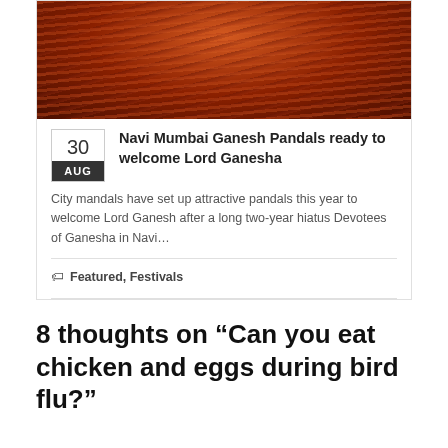[Figure (photo): A decorative tent/pandal interior with red and orange draped fabric/cloth radiating from a central point, creating a warm festive atmosphere]
Navi Mumbai Ganesh Pandals ready to welcome Lord Ganesha
City mandals have set up attractive pandals this year to welcome Lord Ganesh after a long two-year hiatus Devotees of Ganesha in Navi…
Featured, Festivals
8 thoughts on “Can you eat chicken and eggs during bird flu?”